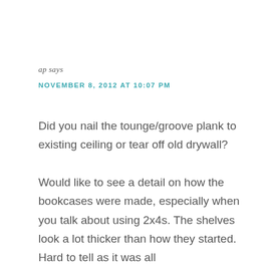ap says
NOVEMBER 8, 2012 AT 10:07 PM
Did you nail the tounge/groove plank to existing ceiling or tear off old drywall?

Would like to see a detail on how the bookcases were made, especially when you talk about using 2x4s. The shelves look a lot thicker than how they started. Hard to tell as it was all